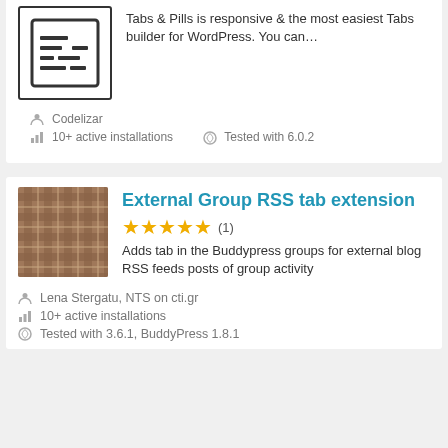[Figure (illustration): Plugin icon placeholder with horizontal lines representing a tabs/layout interface inside a bordered box]
Tabs & Pills is responsive & the most easiest Tabs builder for WordPress. You can…
Codelizar
10+ active installations
Tested with 6.0.2
External Group RSS tab extension
[Figure (illustration): Brown plaid/tartan pattern thumbnail image for External Group RSS tab extension plugin]
★★★★★ (1)
Adds tab in the Buddypress groups for external blog RSS feeds posts of group activity
Lena Stergatu, NTS on cti.gr
10+ active installations
Tested with 3.6.1, BuddyPress 1.8.1